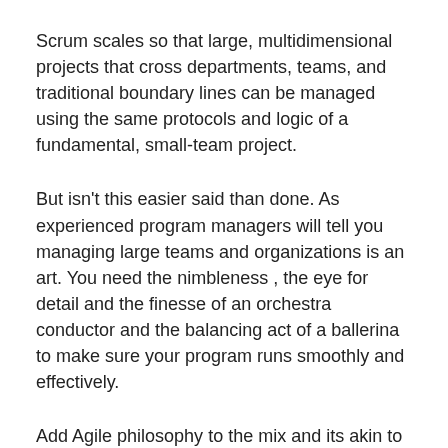Scrum scales so that large, multidimensional projects that cross departments, teams, and traditional boundary lines can be managed using the same protocols and logic of a fundamental, small-team project.
But isn't this easier said than done. As experienced program managers will tell you managing large teams and organizations is an art. You need the nimbleness , the eye for detail and the finesse of an orchestra conductor and the balancing act of a ballerina to make sure your program runs smoothly and effectively.
Add Agile philosophy to the mix and its akin to conducting an orchestra with musicians from rock, pop, blues and country all put together on one stage.
So now that your company has started adopting to the Agile Philosophy , are you ready for it.